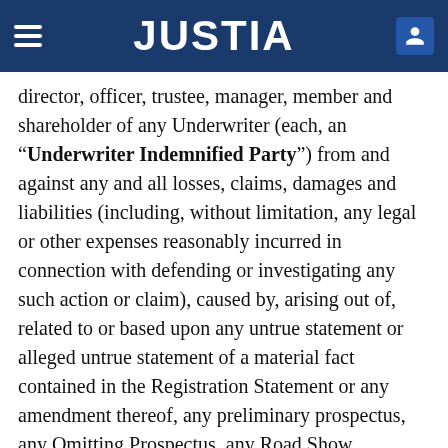JUSTIA
director, officer, trustee, manager, member and shareholder of any Underwriter (each, an “Underwriter Indemnified Party”) from and against any and all losses, claims, damages and liabilities (including, without limitation, any legal or other expenses reasonably incurred in connection with defending or investigating any such action or claim), caused by, arising out of, related to or based upon any untrue statement or alleged untrue statement of a material fact contained in the Registration Statement or any amendment thereof, any preliminary prospectus, any Omitting Prospectus, any Road Show Material, the Time of Sale Prospectus, or the Prospectus or any amendment or supplement thereto, or caused by any omission or alleged omission to state therein a material fact required to be stated therein or necessary to make the statements therein not misleading, except insofar as such losses, claims